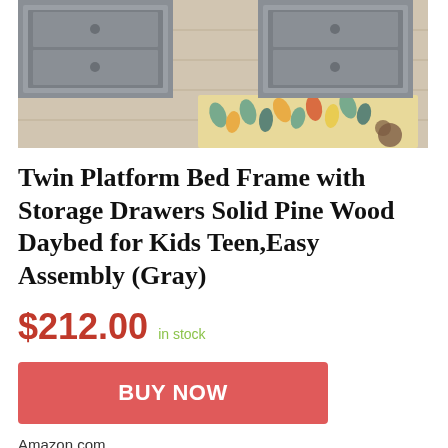[Figure (photo): Photo of a twin platform bed frame with storage drawers in gray, shown on a light wood floor with a colorful patterned rug underneath. Two gray drawer units are visible at the foot of the bed.]
Twin Platform Bed Frame with Storage Drawers Solid Pine Wood Daybed for Kids Teen,Easy Assembly (Gray)
$212.00 in stock
BUY NOW
Amazon.com
as of June 27, 2022 11:31 am ⓘ